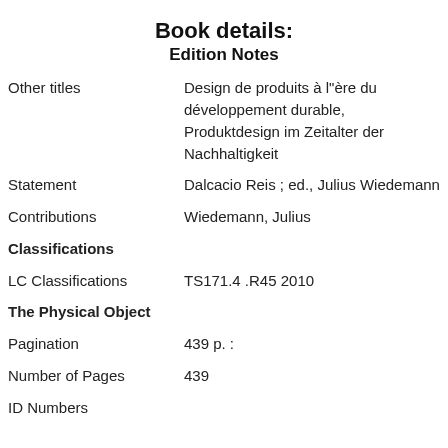Book details:
Edition Notes
| Other titles | Design de produits à l"ère du développement durable, Produktdesign im Zeitalter der Nachhaltigkeit |
| Statement | Dalcacio Reis ; ed., Julius Wiedemann |
| Contributions | Wiedemann, Julius |
| Classifications |  |
| LC Classifications | TS171.4 .R45 2010 |
| The Physical Object |  |
| Pagination | 439 p. : |
| Number of Pages | 439 |
| ID Numbers |  |